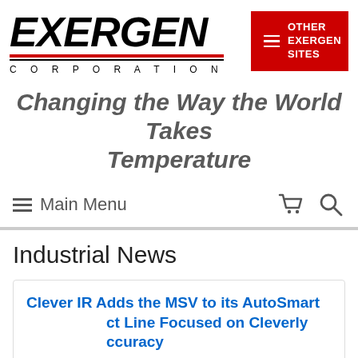[Figure (logo): Exergen Corporation logo with bold italic text and red/black underlines, plus 'OTHER EXERGEN SITES' red button with hamburger icon]
Changing the Way the World Takes Temperature
Main Menu
Industrial News
Clever IR Adds the MSV to its AutoSmart Product Line Focused on Cleverly Accuracy